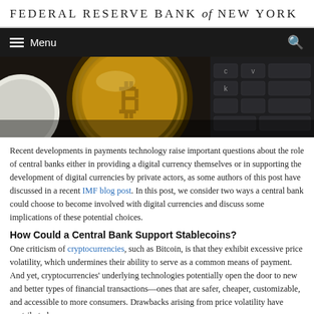FEDERAL RESERVE BANK of NEW YORK
[Figure (photo): Gold Bitcoin coin and computer keyboard in background, dark/moody lighting]
Recent developments in payments technology raise important questions about the role of central banks either in providing a digital currency themselves or in supporting the development of digital currencies by private actors, as some authors of this post have discussed in a recent IMF blog post. In this post, we consider two ways a central bank could choose to become involved with digital currencies and discuss some implications of these potential choices.
How Could a Central Bank Support Stablecoins?
One criticism of cryptocurrencies, such as Bitcoin, is that they exhibit excessive price volatility, which undermines their ability to serve as a common means of payment. And yet, cryptocurrencies' underlying technologies potentially open the door to new and better types of financial transactions—ones that are safer, cheaper, customizable, and accessible to more consumers. Drawbacks arising from price volatility have contributed